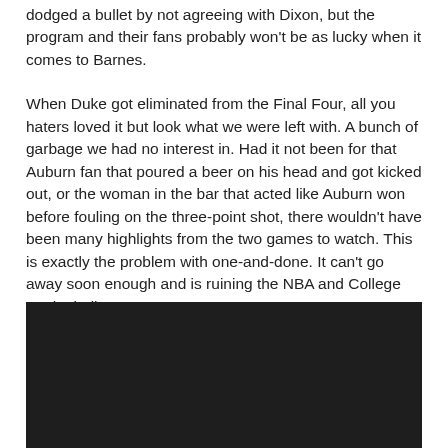dodged a bullet by not agreeing with Dixon, but the program and their fans probably won't be as lucky when it comes to Barnes.
When Duke got eliminated from the Final Four, all you haters loved it but look what we were left with. A bunch of garbage we had no interest in. Had it not been for that Auburn fan that poured a beer on his head and got kicked out, or the woman in the bar that acted like Auburn won before fouling on the three-point shot, there wouldn't have been many highlights from the two games to watch. This is exactly the problem with one-and-done. It can't go away soon enough and is ruining the NBA and College Basketball.
[Figure (photo): Dark/black rectangular image area, appears to be a video embed or photo with very dark content]